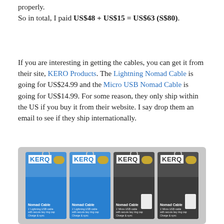properly.
So in total, I paid US$48 + US$15 = US$63 (S$80).
If you are interesting in getting the cables, you can get it from their site, KERO Products. The Lightning Nomad Cable is going for US$24.99 and the Micro USB Nomad Cable is going for US$14.99. For some reason, they only ship within the US if you buy it from their website. I say drop them an email to see if they ship internationally.
[Figure (photo): Four KERO Nomad Cable products in retail packaging, two blue and two dark/black, showing the cable key-ring accessory design.]